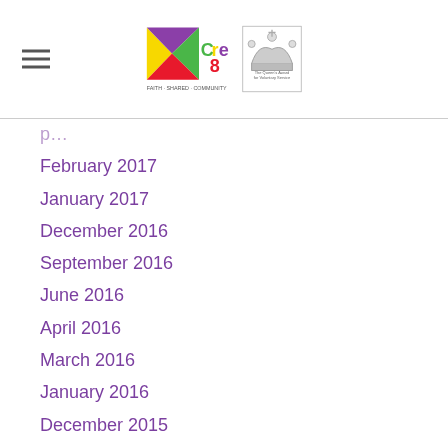Cre8 logo and Queen's Award for Voluntary Service logo
February 2017
January 2017
December 2016
September 2016
June 2016
April 2016
March 2016
January 2016
December 2015
November 2015
October 2015
September 2015
August 2015
July 2015
June 2015
April 2015
March 2015